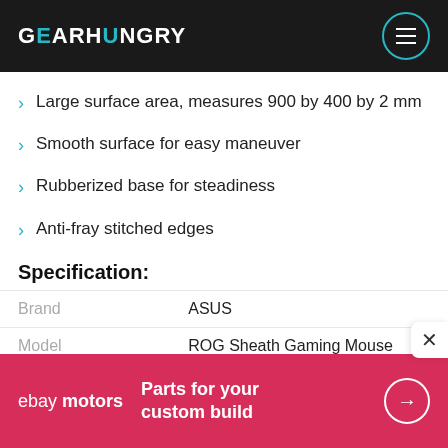GEARHUNGRY
Large surface area, measures 900 by 400 by 2 mm
Smooth surface for easy maneuver
Rubberized base for steadiness
Anti-fray stitched edges
Specification:
|  |  |
| --- | --- |
| Brand | ASUS |
| Model | ROG Sheath Gaming Mouse |
[Figure (other): eBay Motors advertisement banner: 'Parts for your custom build' with arrow button]